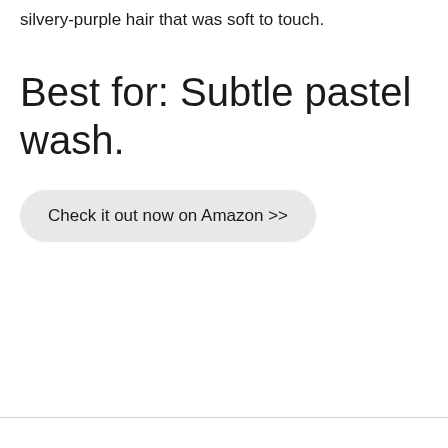silvery-purple hair that was soft to touch.
Best for: Subtle pastel wash.
Check it out now on Amazon >>